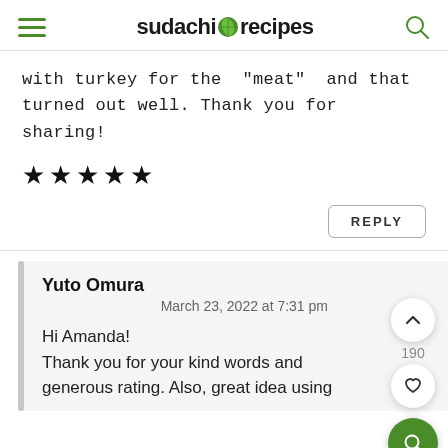sudachi recipes
with turkey for the "meat" and that turned out well. Thank you for sharing!
★★★★★
REPLY
190
Yuto Omura
March 23, 2022 at 7:31 pm
Hi Amanda!
Thank you for your kind words and generous rating. Also, great idea using